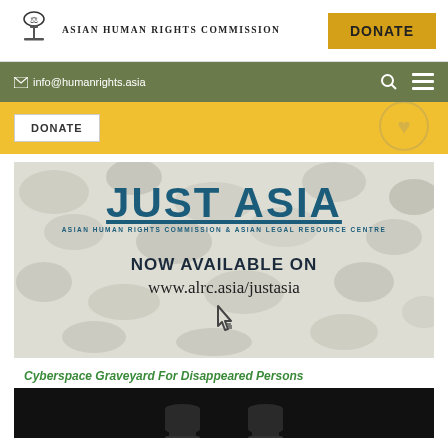[Figure (logo): Asian Human Rights Commission logo with scales of justice icon and organization name]
DONATE
info@humanrights.asia
DONATE
[Figure (illustration): Just Asia banner with camouflage background. Shows 'JUST ASIA' in large teal letters underlined, subtitle 'ASIAN HUMAN RIGHTS COMMISSION & ASIAN LEGAL RESOURCE CENTRE', then 'NOW AVAILABLE ON www.alrc.asia/justasia' with a pointer cursor icon]
Cyberspace Graveyard For Disappeared Persons
[Figure (photo): Two dark tombstone shapes on black background]